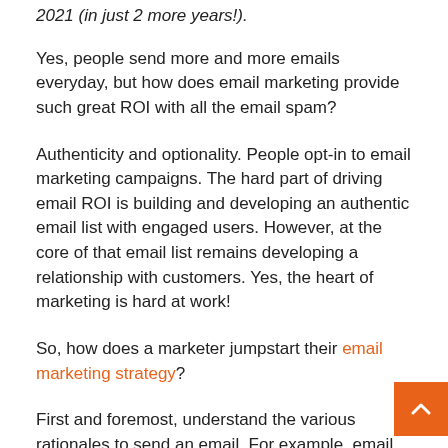2021 (in just 2 more years!).
Yes, people send more and more emails everyday, but how does email marketing provide such great ROI with all the email spam?
Authenticity and optionality. People opt-in to email marketing campaigns. The hard part of driving email ROI is building and developing an authentic email list with engaged users. However, at the core of that email list remains developing a relationship with customers. Yes, the heart of marketing is hard at work!
So, how does a marketer jumpstart their email marketing strategy?
First and foremost, understand the various rationales to send an email. For example, email works for branding, engagement